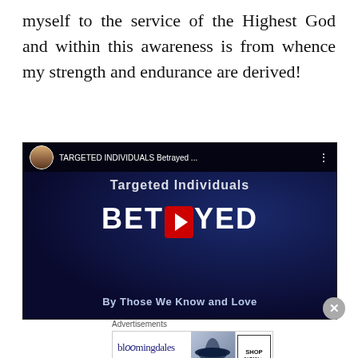myself to the service of the Highest God and within this awareness is from whence my strength and endurance are derived!
[Figure (screenshot): YouTube video thumbnail for 'TARGETED INDIVIDUALS Betrayed ...' showing 'Targeted Individuals BETRAYED By Those We Know and Love' with a YouTube play button in the center, dark space-like background]
Advertisements
[Figure (screenshot): Bloomingdale's advertisement banner: 'bloomingdales - View Today's Top Deals!' with a woman in a wide-brim hat and a 'SHOP NOW >' button]